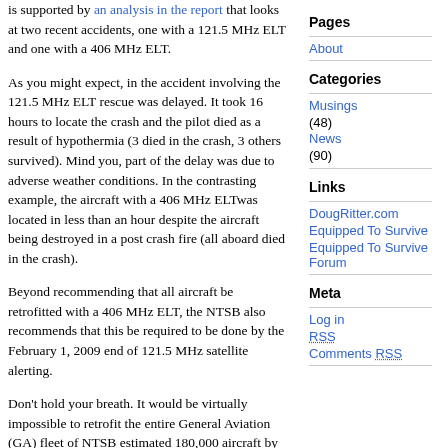is supported by an analysis in the report that looks at two recent accidents, one with a 121.5 MHz ELT and one with a 406 MHz ELT.
As you might expect, in the accident involving the 121.5 MHz ELT rescue was delayed. It took 16 hours to locate the crash and the pilot died as a result of hypothermia (3 died in the crash, 3 others survived). Mind you, part of the delay was due to adverse weather conditions. In the contrasting example, the aircraft with a 406 MHz ELTwas located in less than an hour despite the aircraft being destroyed in a post crash fire (all aboard died in the crash).
Beyond recommending that all aircraft be retrofitted with a 406 MHz ELT, the NTSB also recommends that this be required to be done by the February 1, 2009 end of 121.5 MHz satellite alerting.
Don't hold your breath. It would be virtually impossible to retrofit the entire General Aviation (GA) fleet of NTSB estimated 180,000 aircraft by that date, even if the FAA jumped on it immediately and by some magic issued such a requirement tomorrow. That
Pages
About
Categories
Musings (48)
News (90)
Links
DougRitter.com
Equipped To Survive
Equipped To Survive Forum
Meta
Log in
RSS
Comments RSS